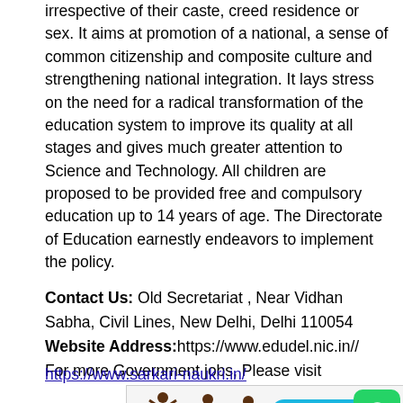irrespective of their caste, creed residence or sex. It aims at promotion of a national, a sense of common citizenship and composite culture and strengthening national integration. It lays stress on the need for a radical transformation of the education system to improve its quality at all stages and gives much greater attention to Science and Technology. All children are proposed to be provided free and compulsory education up to 14 years of age. The Directorate of Education earnestly endeavors to implement the policy.
Contact Us: Old Secretariat , Near Vidhan Sabha, Civil Lines, New Delhi, Delhi 110054
Website Address:https://www.edudel.nic.in//
For more Government jobs, Please visit
https://www.sarkari-naukri.in/
[Figure (infographic): Banner with stick figures in various poses, a 'CLICK HERE' button with arrow, and a WhatsApp icon on the right.]